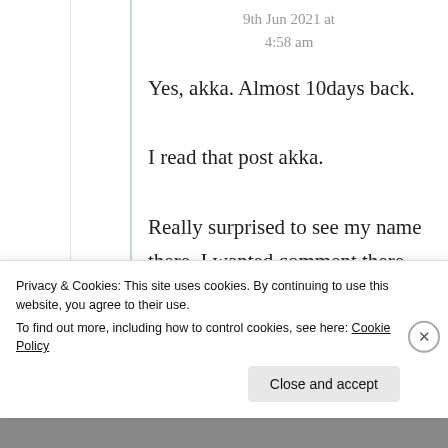9th Jun 2021 at 4:58 am
Yes, akka. Almost 10days back.

I read that post akka.

Really surprised to see my name there. I wanted comment there, but it couldn't possible to me.

Comment chesthumte
Privacy & Cookies: This site uses cookies. By continuing to use this website, you agree to their use.
To find out more, including how to control cookies, see here: Cookie Policy
Close and accept